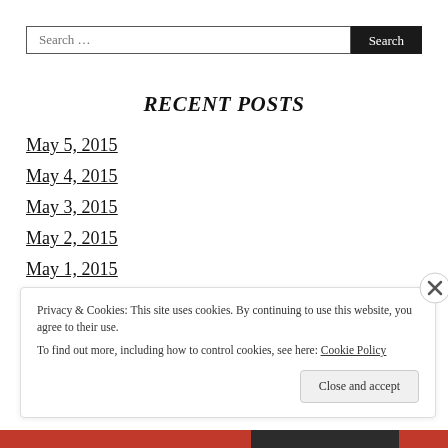Search …
RECENT POSTS
May 5, 2015
May 4, 2015
May 3, 2015
May 2, 2015
May 1, 2015
Privacy & Cookies: This site uses cookies. By continuing to use this website, you agree to their use.
To find out more, including how to control cookies, see here: Cookie Policy
Close and accept